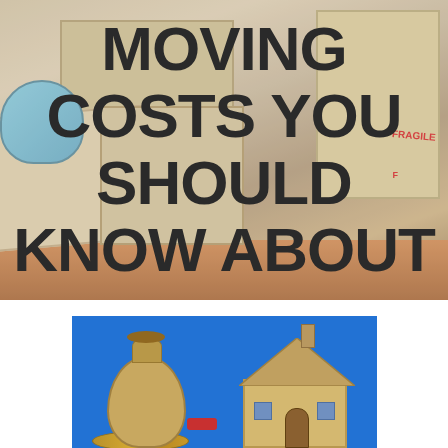[Figure (photo): Background photo of moving cardboard boxes scattered on a wooden floor inside a room, with large bold text overlay reading 'MOVING COSTS YOU SHOULD KNOW ABOUT']
MOVING COSTS YOU SHOULD KNOW ABOUT
[Figure (photo): Photo with blue background showing a burlap money bag with coins underneath on the left, and a small wooden house model on the right]